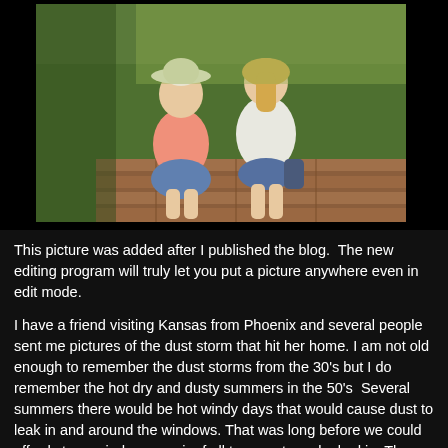[Figure (photo): Two girls sitting on brick steps outdoors on a sunny day. The younger girl on the left wears a white hat and pink shirt with a blue denim skirt. The older girl on the right wears a white long-sleeve shirt and blue shorts. Green grass is visible in the background.]
This picture was added after I published the blog.  The new editing program will truly let you put a picture anywhere even in edit mode.
I have a friend visiting Kansas from Phoenix and several people sent me pictures of the dust storm that hit her home. I am not old enough to remember the dust storms from the 30's but I do remember the hot dry and dusty summers in the 50's  Several summers there would be hot windy days that would cause dust to leak in and around the windows. That was long before we could afford storm windows so air of all temperatures leaked in. The kind of funny thing about